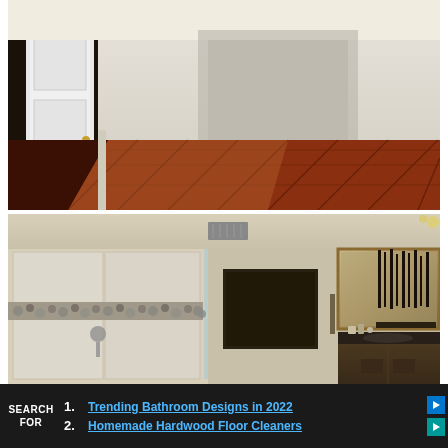[Figure (photo): Interior hallway with rich reddish-brown hardwood floors, white door frame on the left, and beige walls. The wood planks run diagonally into the distance.]
[Figure (photo): Modern bathroom with large tile walk-in shower featuring mosaic stone accent band, glass shower enclosure, dark framed mirror above vanity with dark countertop, and decorative tall black vases.]
SEARCH FOR
1. Trending Bathroom Designs in 2022
2. Homemade Hardwood Floor Cleaners